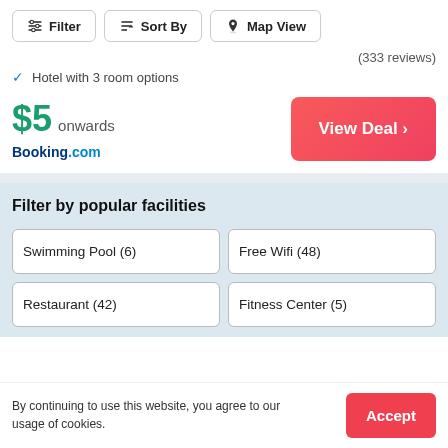Filter
Sort By
Map View
(333 reviews)
Hotel with 3 room options
$5 onwards
Booking.com
View Deal >
Filter by popular facilities
Swimming Pool (6)
Free Wifi (48)
Restaurant (42)
Fitness Center (5)
By continuing to use this website, you agree to our usage of cookies.
Accept